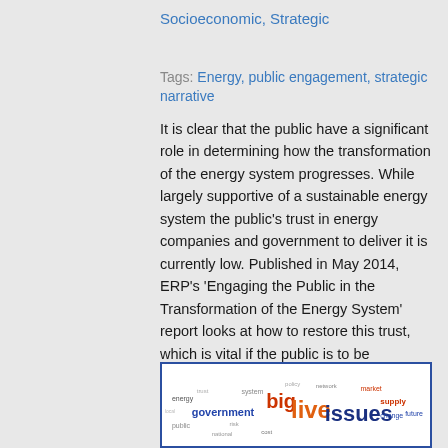Socioeconomic, Strategic
Tags: Energy, public engagement, strategic narrative
It is clear that the public have a significant role in determining how the transformation of the energy system progresses. While largely supportive of a sustainable energy system the public's trust in energy companies and government to deliver it is currently low. Published in May 2014, ERP's 'Engaging the Public in the Transformation of the Energy System' report looks at how to restore this trust, which is vital if the public is to be expected to engage in the transformation, both in terms of informing decision making and undertaking changes at an individual level.
[Figure (infographic): Word cloud image showing terms related to energy and public engagement, with prominent words including 'government', 'big', 'live', 'issues' in various colors (blue, red, orange).]